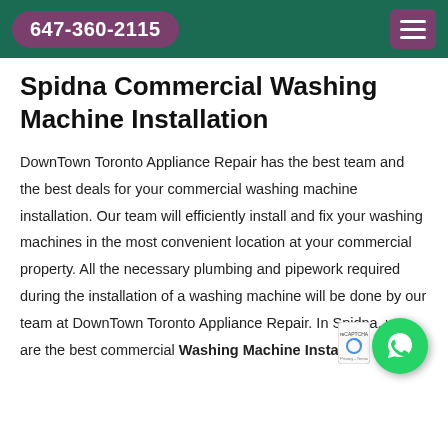647-360-2115
Spidna Commercial Washing Machine Installation
DownTown Toronto Appliance Repair has the best team and the best deals for your commercial washing machine installation. Our team will efficiently install and fix your washing machines in the most convenient location at your commercial property. All the necessary plumbing and pipework required during the installation of a washing machine will be done by our team at DownTown Toronto Appliance Repair. In Spidna, we are the best commercial Washing Machine Installation S... company in Spidna. We are to d...